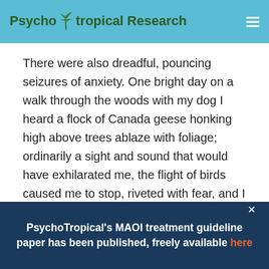PsychoTropical Research
There were also dreadful, pouncing seizures of anxiety. One bright day on a walk through the woods with my dog I heard a flock of Canada geese honking high above trees ablaze with foliage; ordinarily a sight and sound that would have exhilarated me, the flight of birds caused me to stop, riveted with fear, and I
PsychoTropical's MAOI treatment guideline paper has been published, freely available here